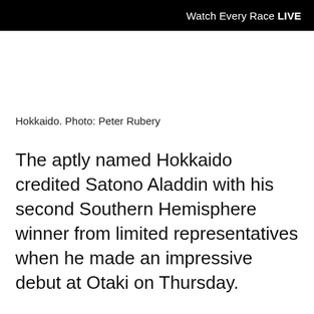Watch Every Race LIVE
Hokkaido. Photo: Peter Rubery
The aptly named Hokkaido credited Satono Aladdin with his second Southern Hemisphere winner from limited representatives when he made an impressive debut at Otaki on Thursday.
Trained by co-breeder and part-owner Gary Vile, the two-year-old sat in the trail before rider Masa Hashizume angled off heels in the straight and,